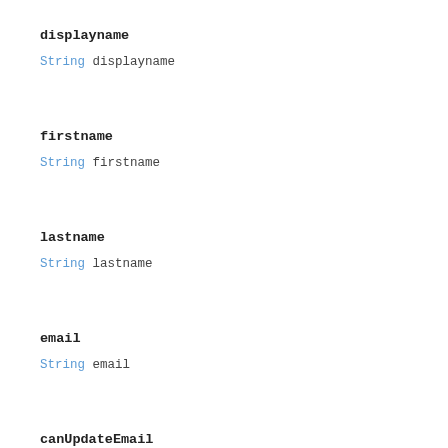displayname
String displayname
firstname
String firstname
lastname
String lastname
email
String email
canUpdateEmail